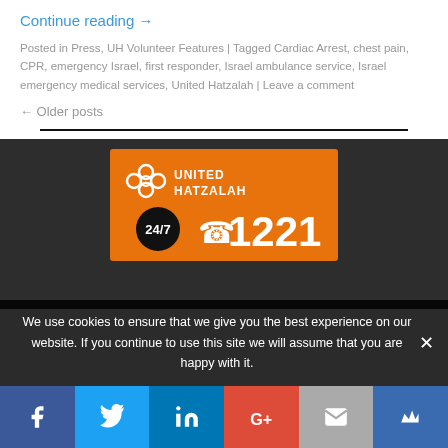Continue reading →
Posted in Press, UH Volunteer Features | Tagged Cardiac Arrest, chest pain, CPR, emergency Israel, first responder, Israel ambulance service, Israel emergency medical services, United Hatzalah | Leave a comment
← Older posts
[Figure (logo): United Hatzalah orange logo banner with 24/7 phone 1221]
We use cookies to ensure that we give you the best experience on our website. If you continue to use this site we will assume that you are happy with it.
[Figure (infographic): Social share bar with Facebook, Twitter, LinkedIn, Google+, Email, and bookmark icons]